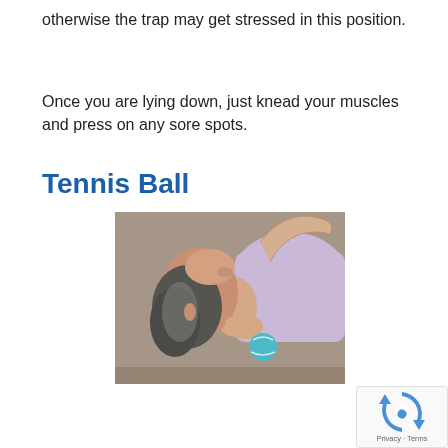otherwise the trap may get stressed in this position.
Once you are lying down, just knead your muscles and press on any sore spots.
Tennis Ball
[Figure (photo): A person lying on their back on the floor, using a tennis ball under their neck/shoulder area for muscle relief. The person has gray hair and is wearing a light purple sleeveless top.]
[Figure (logo): Google reCAPTCHA badge with recaptcha icon and Privacy · Terms text]